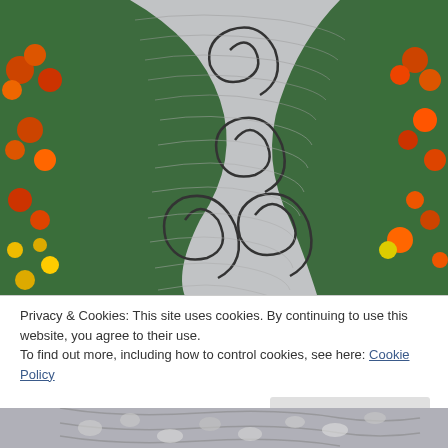[Figure (photo): Aerial view of a decorative garden path made of pebble mosaic with swirling spiral patterns, surrounded by colorful orange, red, and yellow flowers and green foliage.]
Privacy & Cookies: This site uses cookies. By continuing to use this website, you agree to their use.
To find out more, including how to control cookies, see here: Cookie Policy
[Figure (photo): Bottom portion of the same pebble mosaic garden path, showing the stone pattern partially visible.]